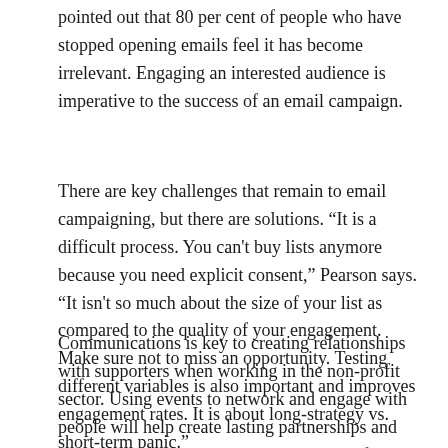pointed out that 80 per cent of people who have stopped opening emails feel it has become irrelevant. Engaging an interested audience is imperative to the success of an email campaign.
There are key challenges that remain to email campaigning, but there are solutions. "It is a difficult process. You can't buy lists anymore because you need explicit consent," Pearson says. "It isn't so much about the size of your list as compared to the quality of your engagement. Make sure not to miss an opportunity. Testing different variables is also important and improves engagement rates. It is about long-strategy vs. short-term panic."
Communications is key to creating relationships with supporters when working in the non-profit sector. Using events to network and engage with people will help create lasting partnerships and loyalty. Likewise, email campaigning can foster an online relationship that could further the success of a